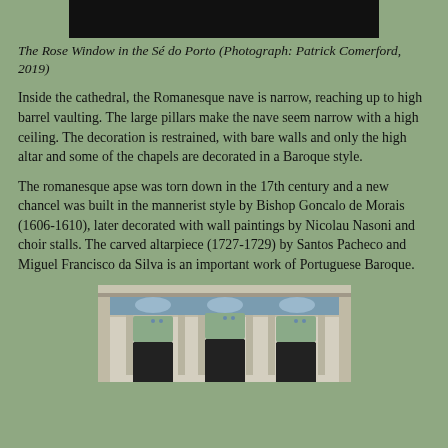[Figure (photo): Top portion of a photo showing the Rose Window in the Sé do Porto, partially cropped, showing a dark top section.]
The Rose Window in the Sé do Porto (Photograph: Patrick Comerford, 2019)
Inside the cathedral, the Romanesque nave is narrow, reaching up to high barrel vaulting. The large pillars make the nave seem narrow with a high ceiling. The decoration is restrained, with bare walls and only the high altar and some of the chapels are decorated in a Baroque style.
The romanesque apse was torn down in the 17th century and a new chancel was built in the mannerist style by Bishop Goncalo de Morais (1606-1610), later decorated with wall paintings by Nicolau Nasoni and choir stalls. The carved altarpiece (1727-1729) by Santos Pacheco and Miguel Francisco da Silva is an important work of Portuguese Baroque.
[Figure (photo): Bottom photo showing the exterior facade of a Portuguese Baroque cathedral with arches, columns, and decorative tile work.]